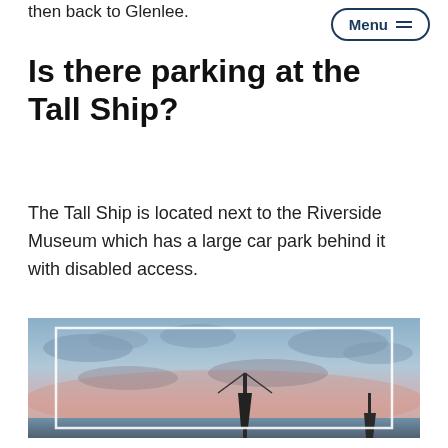then back to Glenlee.
Is there parking at the Tall Ship?
The Tall Ship is located next to the Riverside Museum which has a large car park behind it with disabled access.
[Figure (photo): A dramatic dusk/twilight seascape photo showing a tall ship's mast silhouette against a pink and blue cloudy sky, with a white rectangular border overlay on the image.]